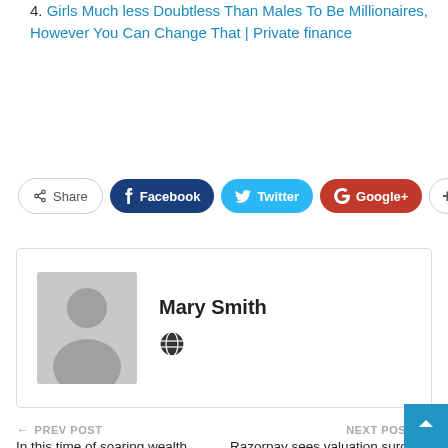4. Girls Much less Doubtless Than Males To Be Millionaires, However You Can Change That | Private finance
[Figure (infographic): Social share buttons: Share, Facebook, Twitter, Google+, and a plus button]
[Figure (illustration): Author box with avatar placeholder image for Mary Smith with a globe icon]
Mary Smith
PREV POST
NEXT POST
In this time of soaring wealth, there is an
Razorpay sees valuation surge sevenfold this year,